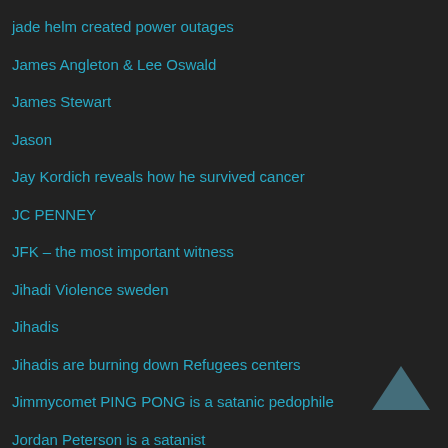jade helm created power outages
James Angleton & Lee Oswald
James Stewart
Jason
Jay Kordich reveals how he survived cancer
JC PENNEY
JFK – the most important witness
Jihadi Violence sweden
Jihadis
Jihadis are burning down Refugees centers
Jimmycomet PING PONG is a satanic pedophile
Jordan Peterson is a satanist
Judge blocks judge lets Jihadis into US without vetting piece of SHIT
Juice Daddy